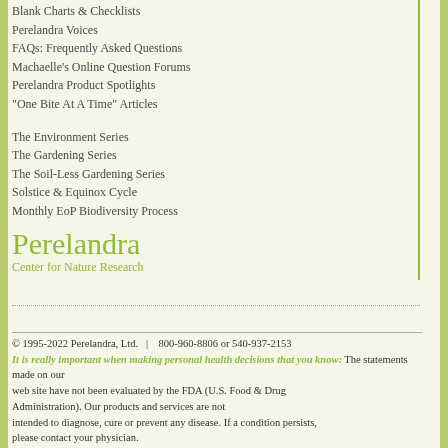Blank Charts & Checklists
Perelandra Voices
FAQs: Frequently Asked Questions
Machaelle's Online Question Forums
Perelandra Product Spotlights
"One Bite At A Time" Articles
The Environment Series
The Gardening Series
The Soil-Less Gardening Series
Solstice & Equinox Cycle
Monthly EoP Biodiversity Process
Perelandra
Center for Nature Research
© 1995-2022 Perelandra, Ltd.   |    800-960-8806 or 540-937-2153
It is really important when making personal health decisions that you know: The statements made on our web site have not been evaluated by the FDA (U.S. Food & Drug Administration). Our products and services are not intended to diagnose, cure or prevent any disease. If a condition persists, please contact your physician.